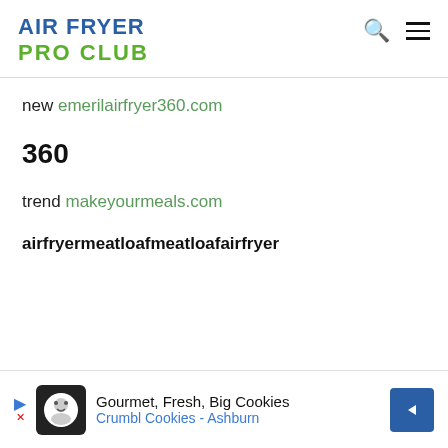AIR FRYER PRO CLUB
new emerilairfryer360.com
360
trend makeyourmeals.com
airfryermeatloafmeatloafairfryer
[Figure (other): Advertisement banner: Gourmet, Fresh, Big Cookies - Crumbl Cookies - Ashburn with cookie logo and directional arrow icon]